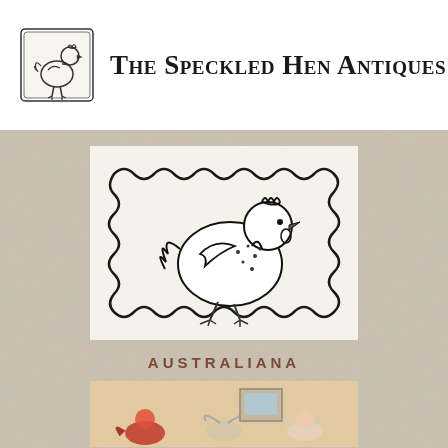[Figure (logo): The Speckled Hen Antiques logo: a small hen inside a decorative rectangular frame, black line art]
The Speckled Hen Antiques
[Figure (illustration): Large black and white line drawing of a speckled hen (chicken) standing inside a decorative scalloped/wavy rectangular border frame, on a light cream background]
AUSTRALIANA
[Figure (photo): Partial photo at bottom showing what appears to be illustrated or painted figures of birds or angels on a warm beige/tan background]